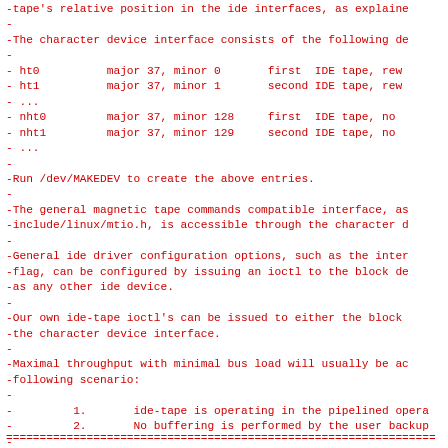-tape's relative position in the ide interfaces, as explained
-
-The character device interface consists of the following de
-
- ht0          major 37, minor 0       first  IDE tape, rew
- ht1          major 37, minor 1       second IDE tape, rew
- ...
- nht0         major 37, minor 128     first  IDE tape, no
- nht1         major 37, minor 129     second IDE tape, no
- ...
-
-Run /dev/MAKEDEV to create the above entries.
-
-The general magnetic tape commands compatible interface, as
-include/linux/mtio.h, is accessible through the character d
-
-General ide driver configuration options, such as the inter
-flag, can be configured by issuing an ioctl to the block de
-as any other ide device.
-
-Our own ide-tape ioctl's can be issued to either the block
-the character device interface.
-
-Maximal throughput with minimal bus load will usually be ac
-following scenario:
-
-         1.       ide-tape is operating in the pipelined opera
-         2.       No buffering is performed by the user backup
-
-
-
================================================================